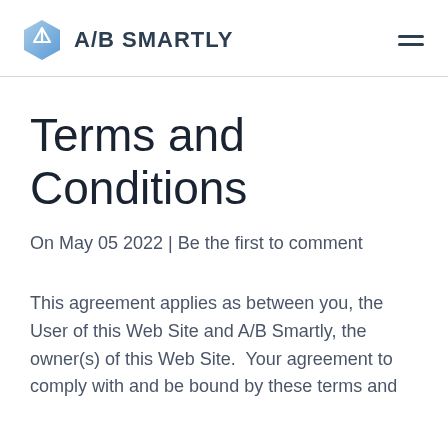A/B SMARTLY
Terms and Conditions
On May 05 2022 | Be the first to comment
This agreement applies as between you, the User of this Web Site and A/B Smartly, the owner(s) of this Web Site.  Your agreement to comply with and be bound by these terms and